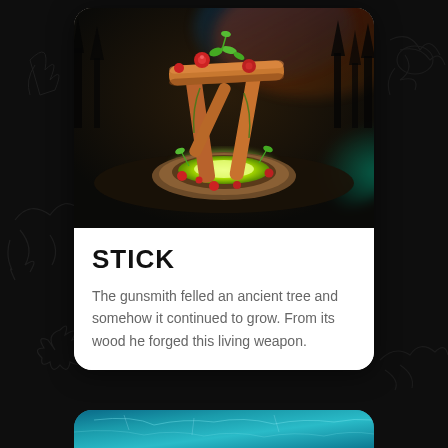[Figure (illustration): 3D rendered game item card showing a wooden stick weapon structure with glowing green portal/base. The wooden pieces form an arch shape with red berry-like decorations and green leaves growing from it. The base has a glowing yellow-green circular portal. Dark atmospheric background with aurora-like colors.]
STICK
The gunsmith felled an ancient tree and somehow it continued to grow. From its wood he forged this living weapon.
[Figure (illustration): Bottom portion of another card partially visible, showing teal/blue aquatic or ice themed background.]